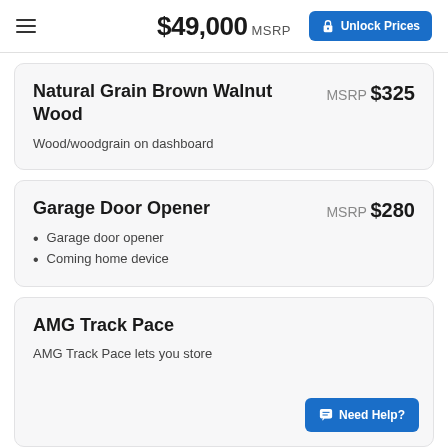$49,000 MSRP  Unlock Prices
Natural Grain Brown Walnut Wood  MSRP $325
Wood/woodgrain on dashboard
Garage Door Opener  MSRP $280
Garage door opener
Coming home device
AMG Track Pace
AMG Track Pace lets you store